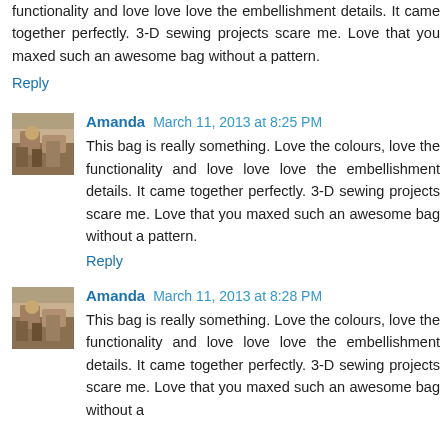functionality and love love love the embellishment details. It came together perfectly. 3-D sewing projects scare me. Love that you maxed such an awesome bag without a pattern.
Reply
Amanda March 11, 2013 at 8:25 PM
This bag is really something. Love the colours, love the functionality and love love love the embellishment details. It came together perfectly. 3-D sewing projects scare me. Love that you maxed such an awesome bag without a pattern.
Reply
Amanda March 11, 2013 at 8:28 PM
This bag is really something. Love the colours, love the functionality and love love love the embellishment details. It came together perfectly. 3-D sewing projects scare me. Love that you maxed such an awesome bag without a